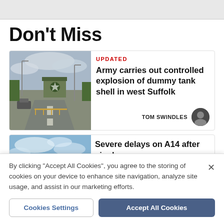Don't Miss
[Figure (photo): Photo of a road with a green military sign, cars, and street lights on a cloudy day]
UPDATED
Army carries out controlled explosion of dummy tank shell in west Suffolk
TOM SWINDLES
[Figure (photo): Partial photo showing blue sky with clouds]
Severe delays on A14 after single-
By clicking “Accept All Cookies”, you agree to the storing of cookies on your device to enhance site navigation, analyze site usage, and assist in our marketing efforts.
Cookies Settings
Accept All Cookies